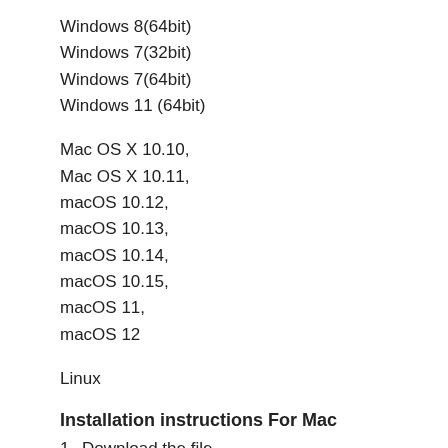Windows 8(64bit)
Windows 7(32bit)
Windows 7(64bit)
Windows 11 (64bit)
Mac OS X 10.10,
Mac OS X 10.11,
macOS 10.12,
macOS 10.13,
macOS 10.14,
macOS 10.15,
macOS 11,
macOS 12
Linux
Installation instructions For Mac
1  Download the file